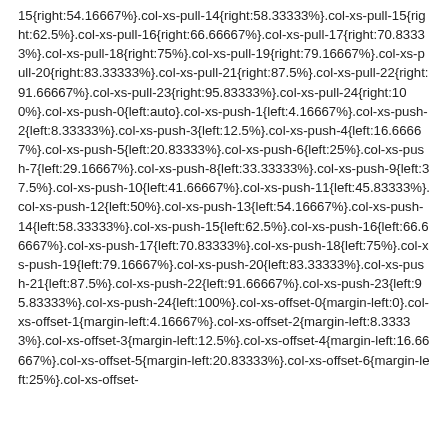15{right:54.16667%}.col-xs-pull-14{right:58.33333%}.col-xs-pull-15{right:62.5%}.col-xs-pull-16{right:66.66667%}.col-xs-pull-17{right:70.83333%}.col-xs-pull-18{right:75%}.col-xs-pull-19{right:79.16667%}.col-xs-pull-20{right:83.33333%}.col-xs-pull-21{right:87.5%}.col-xs-pull-22{right:91.66667%}.col-xs-pull-23{right:95.83333%}.col-xs-pull-24{right:100%}.col-xs-push-0{left:auto}.col-xs-push-1{left:4.16667%}.col-xs-push-2{left:8.33333%}.col-xs-push-3{left:12.5%}.col-xs-push-4{left:16.66667%}.col-xs-push-5{left:20.83333%}.col-xs-push-6{left:25%}.col-xs-push-7{left:29.16667%}.col-xs-push-8{left:33.33333%}.col-xs-push-9{left:37.5%}.col-xs-push-10{left:41.66667%}.col-xs-push-11{left:45.83333%}.col-xs-push-12{left:50%}.col-xs-push-13{left:54.16667%}.col-xs-push-14{left:58.33333%}.col-xs-push-15{left:62.5%}.col-xs-push-16{left:66.66667%}.col-xs-push-17{left:70.83333%}.col-xs-push-18{left:75%}.col-xs-push-19{left:79.16667%}.col-xs-push-20{left:83.33333%}.col-xs-push-21{left:87.5%}.col-xs-push-22{left:91.66667%}.col-xs-push-23{left:95.83333%}.col-xs-push-24{left:100%}.col-xs-offset-0{margin-left:0}.col-xs-offset-1{margin-left:4.16667%}.col-xs-offset-2{margin-left:8.33333%}.col-xs-offset-3{margin-left:12.5%}.col-xs-offset-4{margin-left:16.66667%}.col-xs-offset-5{margin-left:20.83333%}.col-xs-offset-6{margin-left:25%}.col-xs-offset-